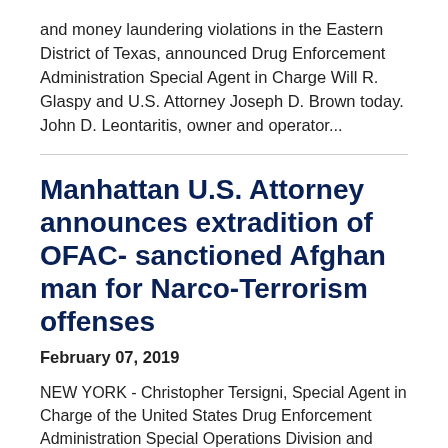and money laundering violations in the Eastern District of Texas, announced Drug Enforcement Administration Special Agent in Charge Will R. Glaspy and U.S. Attorney Joseph D. Brown today. John D. Leontaritis, owner and operator...
Manhattan U.S. Attorney announces extradition of OFAC- sanctioned Afghan man for Narco-Terrorism offenses
February 07, 2019
NEW YORK - Christopher Tersigni, Special Agent in Charge of the United States Drug Enforcement Administration Special Operations Division and Geoffrey S. Berman, the United States Attorney for